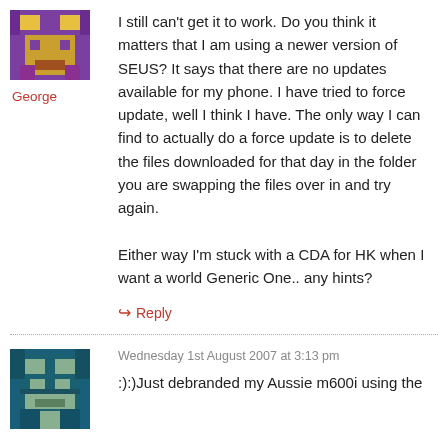[Figure (illustration): Pixel art avatar with purple/gold tones, blocky character image]
George
I still can’t get it to work. Do you think it matters that I am using a newer version of SEUS? It says that there are no updates available for my phone. I have tried to force update, well I think I have. The only way I can find to actually do a force update is to delete the files downloaded for that day in the folder you are swapping the files over in and try again.

Either way I’m stuck with a CDA for HK when I want a world Generic One.. any hints?
↪ Reply
[Figure (illustration): Pixel art avatar with teal/green tones, blocky character image]
Wednesday 1st August 2007 at 3:13 pm
:):)Just debranded my Aussie m600i using the